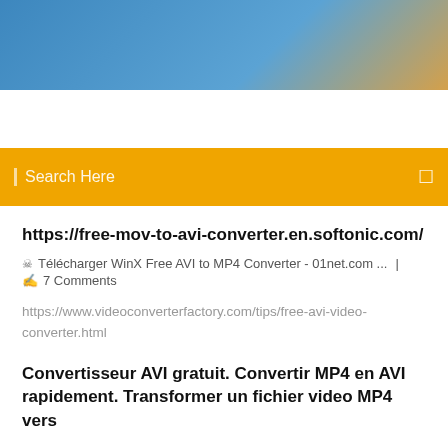[Figure (photo): Blue sky gradient banner image at the top of the page]
[Figure (screenshot): Yellow/orange search bar with 'Search Here' placeholder text and a search icon on the right]
https://free-mov-to-avi-converter.en.softonic.com/
Télécharger WinX Free AVI to MP4 Converter - 01net.com ...  |  7 Comments
https://www.videoconverterfactory.com/tips/free-avi-video-converter.html
Convertisseur AVI gratuit. Convertir MP4 en AVI rapidement. Transformer un fichier video MP4 vers